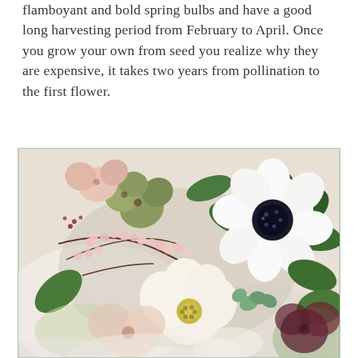flamboyant and bold spring bulbs and have a good long harvesting period from February to April. Once you grow your own from seed you realize why they are expensive, it takes two years from pollination to the first flower.
[Figure (photo): A close-up photograph of a floral arrangement featuring hellebores, white anemones with dark centers, pink cherry blossom sprigs, green foliage, and various other spring flowers in muted pink, white, and green tones against a light background.]